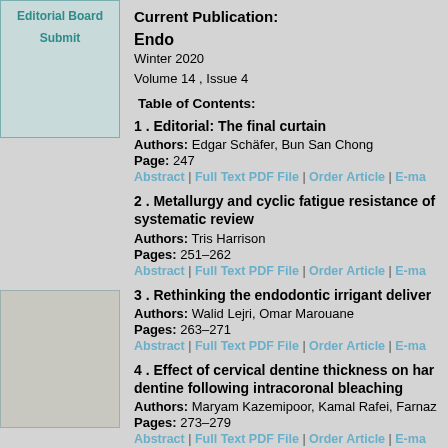Editorial Board
Submit
Current Publication:
Endo
Winter 2020
Volume 14 , Issue 4
Table of Contents:
1 . Editorial: The final curtain
Authors: Edgar Schäfer, Bun San Chong
Page: 247
Abstract | Full Text PDF File | Order Article | E-ma
2 . Metallurgy and cyclic fatigue resistance of systematic review
Authors: Tris Harrison
Pages: 251–262
Abstract | Full Text PDF File | Order Article | E-ma
3 . Rethinking the endodontic irrigant deliver
Authors: Walid Lejri, Omar Marouane
Pages: 263–271
Abstract | Full Text PDF File | Order Article | E-ma
4 . Effect of cervical dentine thickness on har dentine following intracoronal bleaching
Authors: Maryam Kazemipoor, Kamal Rafei, Farnaz
Pages: 273–279
Abstract | Full Text PDF File | Order Article | E-ma